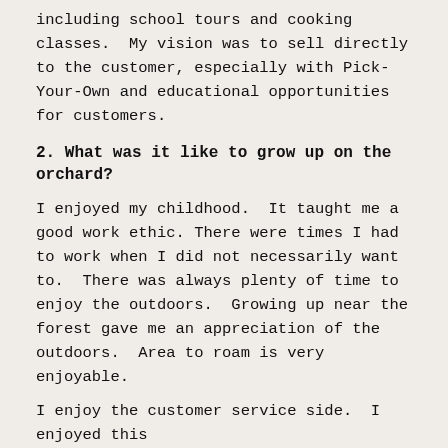including school tours and cooking classes.  My vision was to sell directly to the customer, especially with Pick-Your-Own and educational opportunities for customers.
2. What was it like to grow up on the orchard?
I enjoyed my childhood.  It taught me a good work ethic. There were times I had to work when I did not necessarily want to.  There was always plenty of time to enjoy the outdoors.  Growing up near the forest gave me an appreciation of the outdoors.  Area to roam is very enjoyable.
I enjoy the customer service side.  I enjoyed this